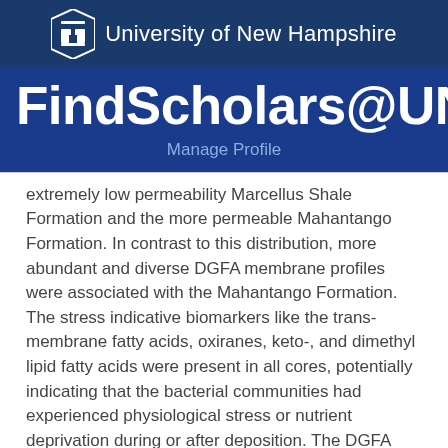University of New Hampshire
FindScholars@UNH
Manage Profile
extremely low permeability Marcellus Shale Formation and the more permeable Mahantango Formation. In contrast to this distribution, more abundant and diverse DGFA membrane profiles were associated with the Mahantango Formation. The stress indicative biomarkers like the trans-membrane fatty acids, oxiranes, keto-, and dimethyl lipid fatty acids were present in all cores, potentially indicating that the bacterial communities had experienced physiological stress or nutrient deprivation during or after deposition. The DGFA profiles expressed more stress indicative biomarkers as opposed to the